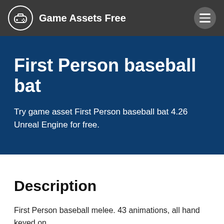Game Assets Free
First Person baseball bat
Try game asset First Person baseball bat 4.26 Unreal Engine for free.
Description
First Person baseball melee. 43 animations, all hand keyed on